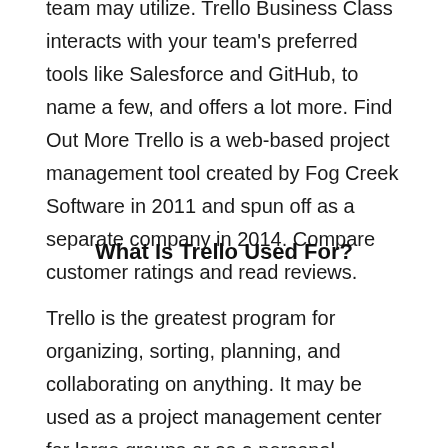team may utilize. Trello Business Class interacts with your team's preferred tools like Salesforce and GitHub, to name a few, and offers a lot more. Find Out More Trello is a web-based project management tool created by Fog Creek Software in 2011 and spun off as a separate company in 2014. Compare customer ratings and read reviews.
What Is Trello Used For?
Trello is the greatest program for organizing, sorting, planning, and collaborating on anything. It may be used as a project management center for large groups or as a personal productivity booster. Managers and team members may see all of the processes in a project and immediately assess completed tasks, work that needs to